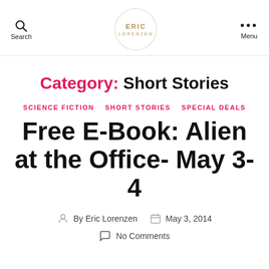Search | Eric Lorenzen | Menu
Category: Short Stories
SCIENCE FICTION  SHORT STORIES  SPECIAL DEALS
Free E-Book: Alien at the Office- May 3-4
By Eric Lorenzen  May 3, 2014  No Comments